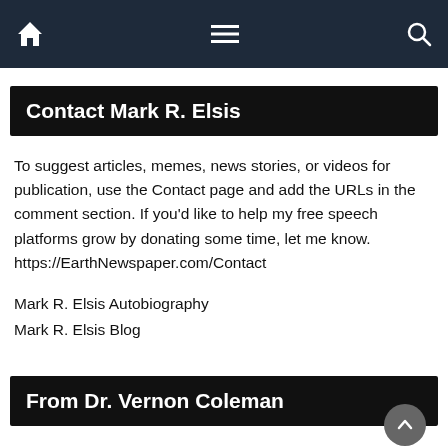Navigation bar with home, menu, and search icons
Contact Mark R. Elsis
To suggest articles, memes, news stories, or videos for publication, use the Contact page and add the URLs in the comment section. If you'd like to help my free speech platforms grow by donating some time, let me know. https://EarthNewspaper.com/Contact
Mark R. Elsis Autobiography
Mark R. Elsis Blog
From Dr. Vernon Coleman
“If you’re looking for a cache of information about covid-19 I